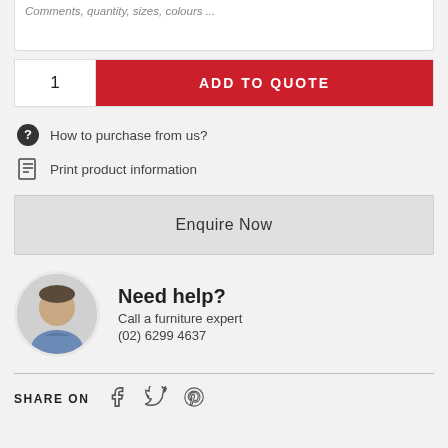Comments, quantity, sizes, colours ...
1
ADD TO QUOTE
How to purchase from us?
Print product information
Enquire Now
Need help?
Call a furniture expert
(02) 6299 4637
SHARE ON